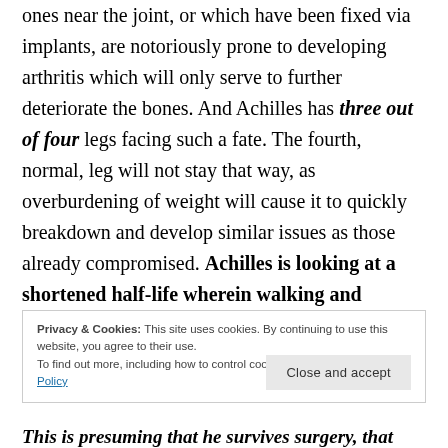ones near the joint, or which have been fixed via implants, are notoriously prone to developing arthritis which will only serve to further deteriorate the bones. And Achilles has three out of four legs facing such a fate. The fourth, normal, leg will not stay that way, as overburdening of weight will cause it to quickly breakdown and develop similar issues as those already compromised. Achilles is looking at a shortened half-life wherein walking and moving around will cause him constant and unavoidable pain.
Privacy & Cookies: This site uses cookies. By continuing to use this website, you agree to their use. To find out more, including how to control cookies, see here: Cookie Policy
This is presuming that he survives surgery, that